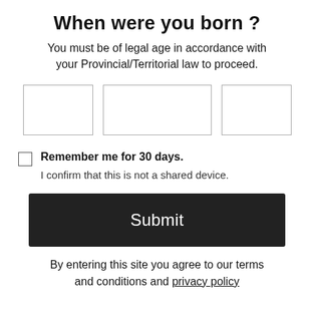When were you born ?
You must be of legal age in accordance with your Provincial/Territorial law to proceed.
[Figure (other): Three empty date input boxes for entering birth date (day, month, year)]
Remember me for 30 days.
I confirm that this is not a shared device.
Submit
By entering this site you agree to our terms and conditions and privacy policy